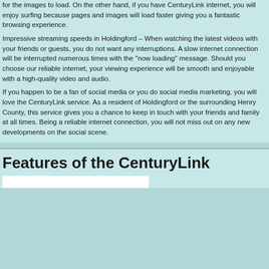for the images to load. On the other hand, if you have CenturyLink internet, you will enjoy surfing because pages and images will load faster giving you a fantastic browsing experience.
Impressive streaming speeds in Holdingford – When watching the latest videos with your friends or guests, you do not want any interruptions. A slow internet connection will be interrupted numerous times with the ''now loading'' message. Should you choose our reliable internet, your viewing experience will be smooth and enjoyable with a high-quality video and audio.
If you happen to be a fan of social media or you do social media marketing, you will love the CenturyLink service. As a resident of Holdingford or the surrounding Henry County, this service gives you a chance to keep in touch with your friends and family at all times. Being a reliable internet connection, you will not miss out on any new developments on the social scene.
Features of the CenturyLink S...